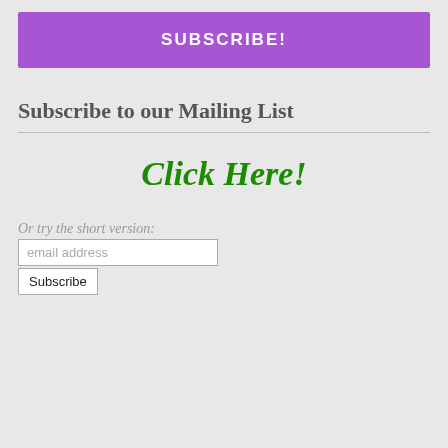SUBSCRIBE!
Subscribe to our Mailing List
Click Here!
Or try the short version:
email address
Subscribe